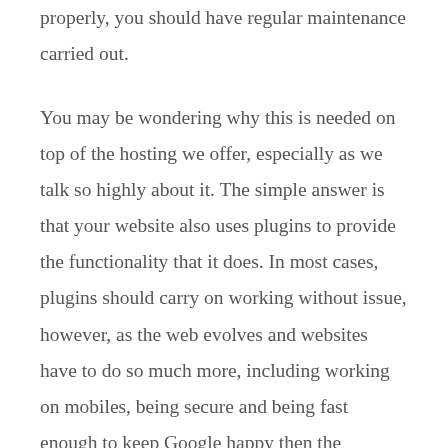properly, you should have regular maintenance carried out.
You may be wondering why this is needed on top of the hosting we offer, especially as we talk so highly about it. The simple answer is that your website also uses plugins to provide the functionality that it does. In most cases, plugins should carry on working without issue, however, as the web evolves and websites have to do so much more, including working on mobiles, being secure and being fast enough to keep Google happy then the continued flawless operation of plugins can not be guaranteed by us or anyone else.